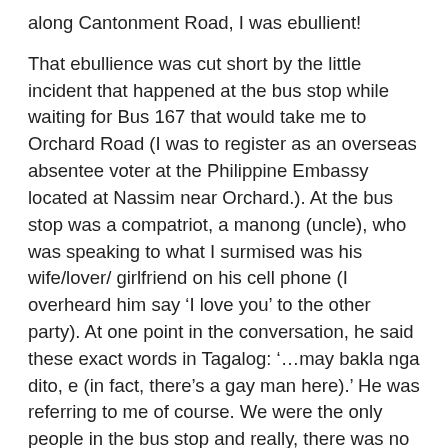along Cantonment Road, I was ebullient!
That ebullience was cut short by the little incident that happened at the bus stop while waiting for Bus 167 that would take me to Orchard Road (I was to register as an overseas absentee voter at the Philippine Embassy located at Nassim near Orchard.). At the bus stop was a compatriot, a manong (uncle), who was speaking to what I surmised was his wife/lover/ girlfriend on his cell phone (I overheard him say ‘I love you’ to the other party). At one point in the conversation, he said these exact words in Tagalog: ‘…may bakla nga dito, e (in fact, there’s a gay man here).’ He was referring to me of course. We were the only people in the bus stop and really, there was no other gay spirit riveting his otherwise discriminating attention. My instant reaction was to glance at him with my rather bushy left eyebrow arched. Then he said to his fellow interlocutor: ‘Oo tumitingin nga sa’kin (Yeah, he actually glanced at me)’ to which I retorted ‘Pinoy po ako, naiintindihan ko po kayo (I’m Filipino. I could understand what you’re saying).’ Well, he was taken aback after I said that. He probably thought I was a Chinese Singaporean, or a Peranakan, or Thai (my apologies to